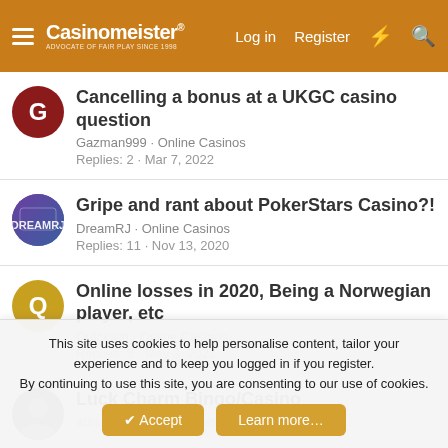Casinomeister® | Log in | Register
Cancelling a bonus at a UKGC casino question
Gazman999 · Online Casinos
Replies: 2 · Mar 7, 2022
Gripe and rant about PokerStars Casino?!
DreamRJ · Online Casinos
Replies: 11 · Nov 13, 2020
Online losses in 2020, Being a Norwegian player, etc
Quickwin · Online Casinos
Replies: 8 · May 3, 2021
Luck Charm Bingo/Casino
This site uses cookies to help personalise content, tailor your experience and to keep you logged in if you register.
By continuing to use this site, you are consenting to our use of cookies.